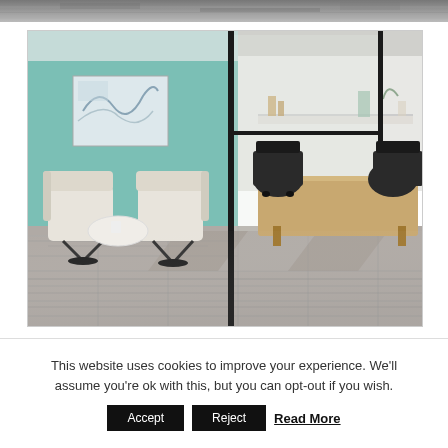[Figure (photo): Partial top strip of an image showing a textured surface, cropped at the top of the page]
[Figure (photo): Office interior with carpet tiles showing two zones: a lounge area with white chairs and small table against a mint/teal wall with abstract art, and a conference area with wooden table and black office chairs, separated by a black metal glass partition]
This website uses cookies to improve your experience. We'll assume you're ok with this, but you can opt-out if you wish.
Accept  Reject  Read More